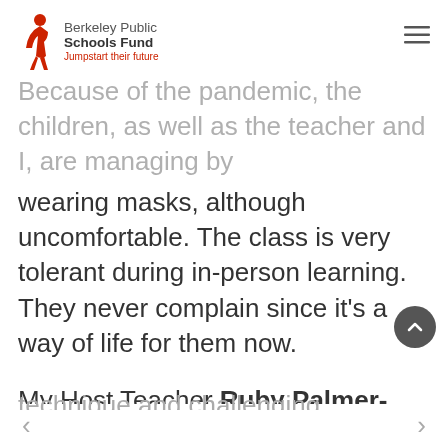Berkeley Public Schools Fund — Jumpstart their future
Because of the pandemic, the children, as well as the teacher and I, are managing by wearing masks, although uncomfortable. The class is very tolerant during in-person learning. They never complain since it's a way of life for them now.
My Host Teacher Ruby Palmer-Ghose is an excellent instructor and I'm fortunate to have been placed with her. I often wish I was a student in her class while observing her technique and challenging instruction. She